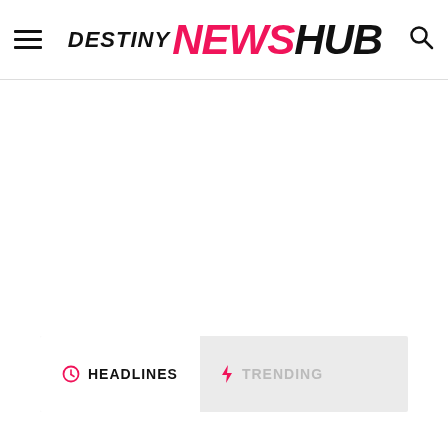Destiny NEWS HUB — navigation header with hamburger menu and search icon
[Figure (other): Large blank white advertisement/loading area with three small grey square dots centered, indicating an ad placeholder or loading state]
HEADLINES   TRENDING — tab navigation bar